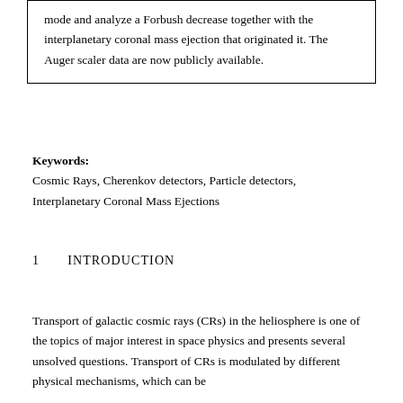mode and analyze a Forbush decrease together with the interplanetary coronal mass ejection that originated it. The Auger scaler data are now publicly available.
Keywords: Cosmic Rays, Cherenkov detectors, Particle detectors, Interplanetary Coronal Mass Ejections
1        INTRODUCTION
Transport of galactic cosmic rays (CRs) in the heliosphere is one of the topics of major interest in space physics and presents several unsolved questions. Transport of CRs is modulated by different physical mechanisms, which can be